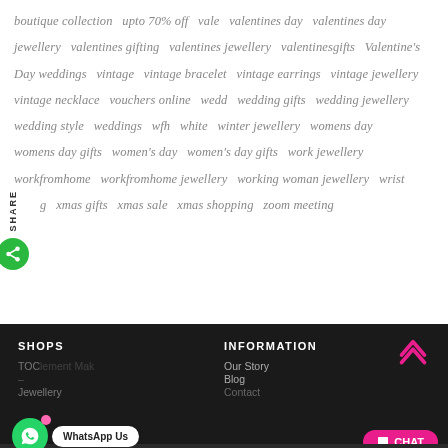boutique collection  upto 70% off  vale  valentines day  valentines day jewellery  valentines gifting  valentines jewellery  valentinesgifts  Valentine's Day weddings  vintage  vintage bracelet  vintage earrings  vintage jewellery vintage necklace  vouchers online  wedd  wedding gifts  wedding jewellery wedding style  weddings  wfh  white  winter jewellery  womens day womens day gifts  women's day  women's day gifts  work jewellery workfromhome  workfromhome jewellery  working woman jewellery  wrist g  xmas gifts  xmas sale  xmas shopping  zoom meeting
[Figure (other): Share sidebar with vertical SHARE text and green circular share button]
SHOPS  INFORMATION  TOC lement Mak  Our Story  Blog  Jewellery  Contact  SHOW SIDEBAR +